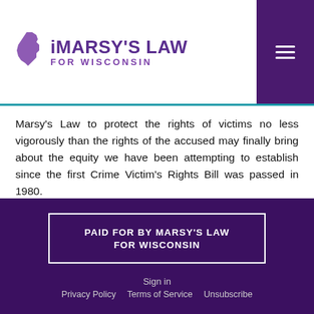[Figure (logo): Marsy's Law for Wisconsin logo with Wisconsin state outline icon and text]
Marsy’s Law to protect the rights of victims no less vigorously than the rights of the accused may finally bring about the equity we have been attempting to establish since the first Crime Victim’s Rights Bill was passed in 1980.
This Perspective was originally published in the Marsy’s Law for All national newsletter.
PAID FOR BY MARSY’S LAW FOR WISCONSIN
Sign in · Privacy Policy · Terms of Service · Unsubscribe